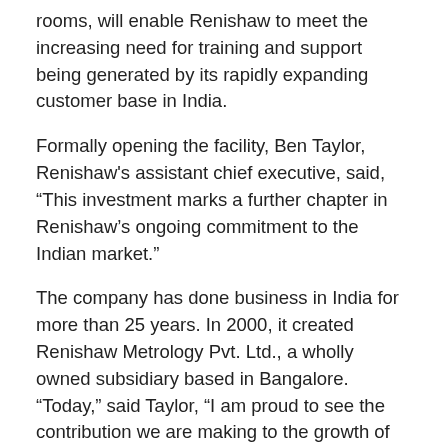rooms, will enable Renishaw to meet the increasing need for training and support being generated by its rapidly expanding customer base in India.
Formally opening the facility, Ben Taylor, Renishaw's assistant chief executive, said, “This investment marks a further chapter in Renishaw’s ongoing commitment to the Indian market.”
The company has done business in India for more than 25 years. In 2000, it created Renishaw Metrology Pvt. Ltd., a wholly owned subsidiary based in Bangalore. “Today,” said Taylor, “I am proud to see the contribution we are making to the growth of Indian manufacturing, assisting companies to raise quality standards and productivity levels.”
The demonstration and training centre will offer technical support to both OEM customers and end-users of Renishaw’s wide range of metrology products, including